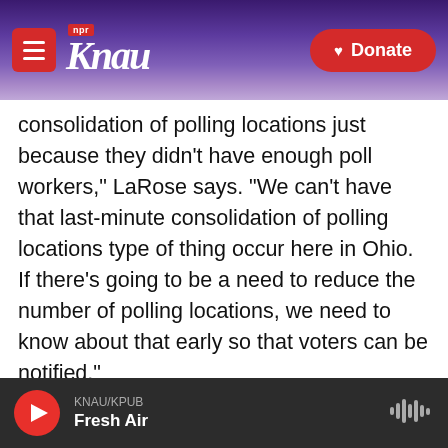KNAU NPR — Donate
consolidation of polling locations just because they didn't have enough poll workers," LaRose says. "We can't have that last-minute consolidation of polling locations type of thing occur here in Ohio. If there's going to be a need to reduce the number of polling locations, we need to know about that early so that voters can be notified."
He's working with businesses to give their employees time off to serve as poll workers, encouraging attorneys to work in exchange for continuing legal education credit and even targeting 17-year-olds.
KNAU/KPUB — Fresh Air